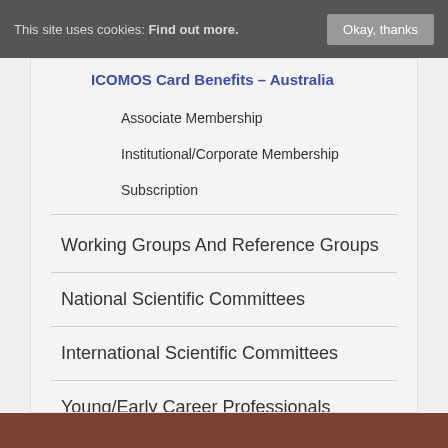This site uses cookies: Find out more. Okay, thanks
ICOMOS Card Benefits – Australia
Associate Membership
Institutional/Corporate Membership
Subscription
Working Groups And Reference Groups
National Scientific Committees
International Scientific Committees
Young/Early Career Professionals
[Figure (photo): Partial image visible at bottom of page]